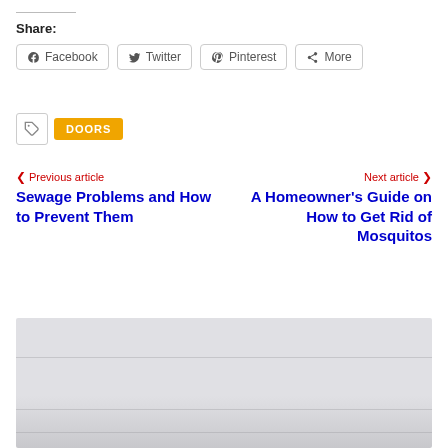Share:
Facebook  Twitter  Pinterest  More
DOORS
< Previous article
Sewage Problems and How to Prevent Them
Next article >
A Homeowner's Guide on How to Get Rid of Mosquitos
[Figure (photo): A photo of a white door or interior scene, partially visible at the bottom of the page.]